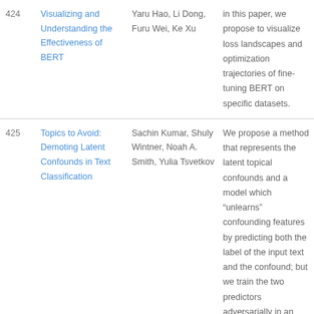| # | Title | Authors | Abstract |
| --- | --- | --- | --- |
| 424 | Visualizing and Understanding the Effectiveness of BERT | Yaru Hao, Li Dong, Furu Wei, Ke Xu | In this paper, we propose to visualize loss landscapes and optimization trajectories of fine-tuning BERT on specific datasets. |
| 425 | Topics to Avoid: Demoting Latent Confounds in Text Classification | Sachin Kumar, Shuly Wintner, Noah A. Smith, Yulia Tsvetkov | We propose a method that represents the latent topical confounds and a model which “unlearns” confounding features by predicting both the label of the input text and the confound; but we train the two predictors adversarially in an alternating fashion to learn a text representation that predicts the correct label but is less prone to using information about the |